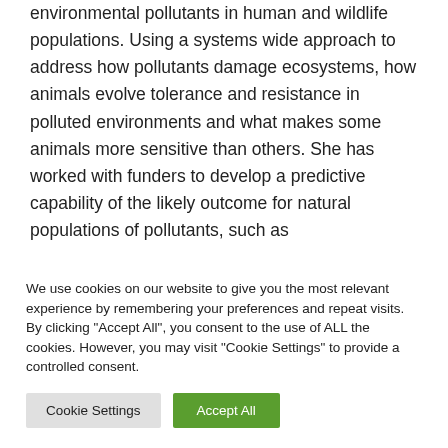environmental pollutants in human and wildlife populations. Using a systems wide approach to address how pollutants damage ecosystems, how animals evolve tolerance and resistance in polluted environments and what makes some animals more sensitive than others. She has worked with funders to develop a predictive capability of the likely outcome for natural populations of pollutants, such as
We use cookies on our website to give you the most relevant experience by remembering your preferences and repeat visits. By clicking "Accept All", you consent to the use of ALL the cookies. However, you may visit "Cookie Settings" to provide a controlled consent.